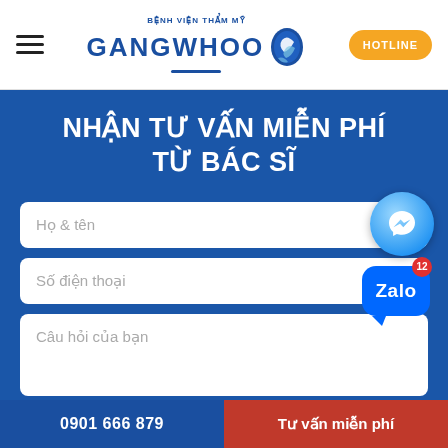[Figure (logo): Gangwhoo Aesthetic Hospital logo with Vietnamese text 'Benh Vien Tham My Gangwhoo' and bird/leaf icon]
NHẬN TƯ VẤN MIỄN PHÍ TỪ BÁC SĨ
Họ & tên
[Figure (other): Facebook Messenger icon circle]
Số điện thoại
[Figure (other): Zalo chat bubble icon with badge 12]
Câu hỏi của bạn
0901 666 879
Tư vấn miễn phí